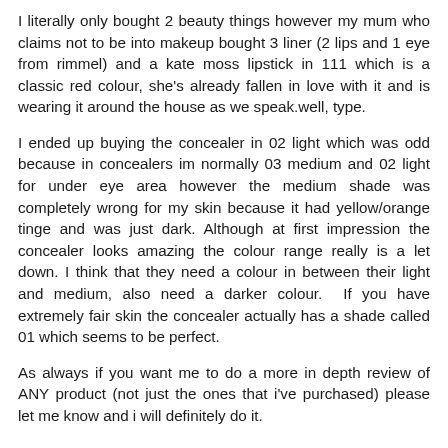I literally only bought 2 beauty things however my mum who claims not to be into makeup bought 3 liner (2 lips and 1 eye from rimmel) and a kate moss lipstick in 111 which is a classic red colour, she's already fallen in love with it and is wearing it around the house as we speak.well, type.
I ended up buying the concealer in 02 light which was odd because in concealers im normally 03 medium and 02 light for under eye area however the medium shade was completely wrong for my skin because it had yellow/orange tinge and was just dark. Although at first impression the concealer looks amazing the colour range really is a let down. I think that they need a colour in between their light and medium, also need a darker colour. If you have extremely fair skin the concealer actually has a shade called 01 which seems to be perfect.
As always if you want me to do a more in depth review of ANY product (not just the ones that i've purchased) please let me know and i will definitely do it.